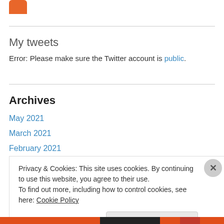[Figure (logo): Orange rounded rectangle logo/icon at top left]
My tweets
Error: Please make sure the Twitter account is public.
Archives
May 2021
March 2021
February 2021
Privacy & Cookies: This site uses cookies. By continuing to use this website, you agree to their use.
To find out more, including how to control cookies, see here: Cookie Policy
Close and accept